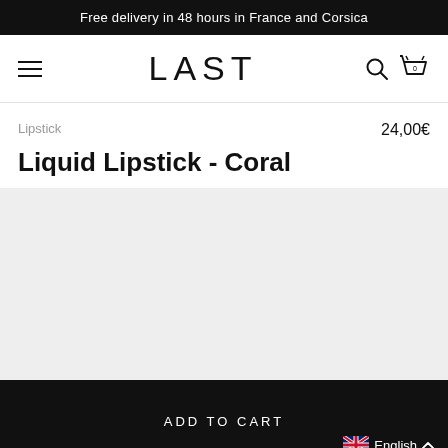Free delivery in 48 hours in France and Corsica
[Figure (screenshot): Navigation bar with hamburger menu on left, LAST brand logo in center, search icon and cart icon with 0 items on right]
Lipstick
24,00€
Liquid Lipstick - Coral
[Figure (photo): Light gray product image area placeholder]
ADD TO CART